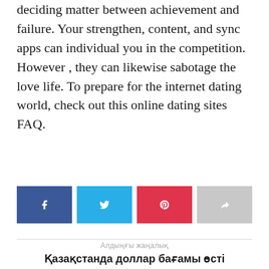deciding matter between achievement and failure. Your strengthen, content, and sync apps can individual you in the competition. However , they can likewise sabotage the love life. To prepare for the internet dating world, check out this online dating sites FAQ.
[Figure (infographic): Social share buttons: Facebook (blue), Twitter (light blue), Pinterest (red), Share (gray)]
Алдыңғы жаңалық
Қазақстанда доллар бағамы өсті
Келесі жаңалық
Қазақстанда кейінгі тәулікте қанша адамнан COVID-19 анықталды?